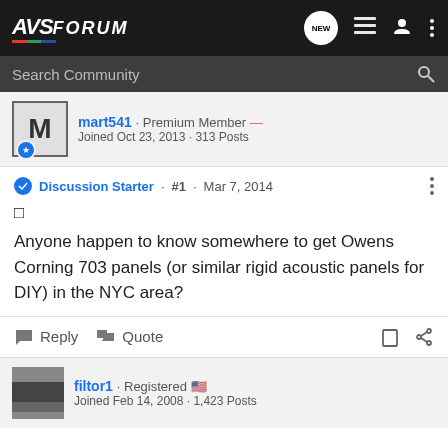AVSForum
Search Community
mart541 · Premium Member
Joined Oct 23, 2013 · 313 Posts
Discussion Starter · #1 · Mar 7, 2014
Anyone happen to know somewhere to get Owens Corning 703 panels (or similar rigid acoustic panels for DIY) in the NYC area?
Reply   Quote
filtor1 · Registered
Joined Feb 14, 2008 · 1,423 Posts